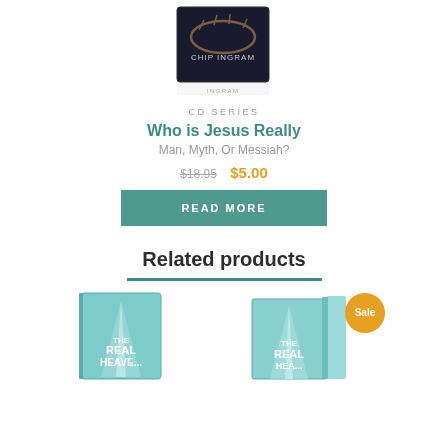[Figure (photo): CD product image for 'Who is Jesus Really' by Chip Ingram, showing a crown of thorns on the cover, with reflection below]
CD SERIES
Who is Jesus Really
Man, Myth, Or Messiah?
$18.95  $5.00
READ MORE
Related products
[Figure (photo): Product image for 'The Real Heaven' DVD/CD series with teal sky background]
[Figure (photo): Product image for 'The Real...' book/DVD with teal sky background, Sale badge shown]